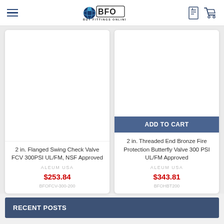BFO BUY FITTINGS ONLINE
[Figure (screenshot): Product card: 2 in. Flanged Swing Check Valve FCV 300PSI UL/FM, NSF Approved]
2 in. Flanged Swing Check Valve FCV 300PSI UL/FM, NSF Approved
ALEUM USA
$253.84
BFOFCV-300-200
[Figure (screenshot): Product card: 2 in. Threaded End Bronze Fire Protection Butterfly Valve 300 PSI UL/FM Approved with ADD TO CART button]
ADD TO CART
2 in. Threaded End Bronze Fire Protection Butterfly Valve 300 PSI UL/FM Approved
ALEUM USA
$343.81
BFOHBT200
RECENT POSTS